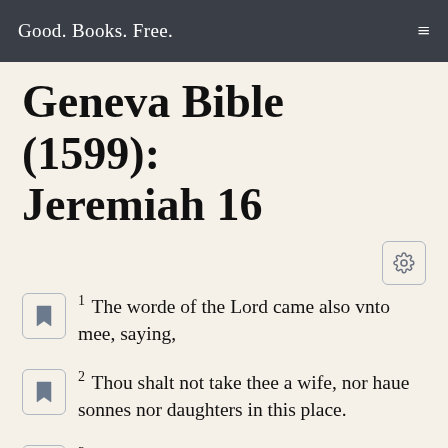Good. Books. Free.
Geneva Bible (1599): Jeremiah 16
1 The worde of the Lord came also vnto mee, saying,
2 Thou shalt not take thee a wife, nor haue sonnes nor daughters in this place.
3 For thus sayeth the Lord concerning the sonnes, and concerning the daughters that are borne in this place, and concerning their mothers that beare them, and concerning their fathers, that beget them in this land,